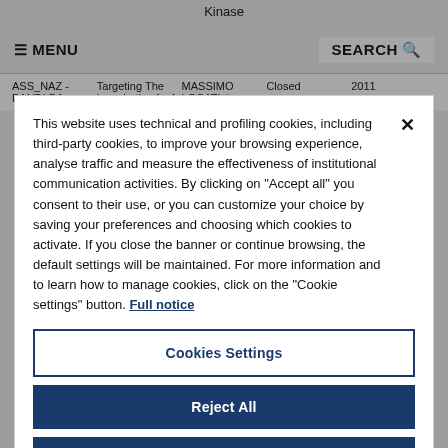Kinase
≡ MENU   SEARCH 🔍
|  | Targeting The Lymphatics As A | MASSIMO LOCATI 🔗 | Closed | 2011 |
| --- | --- | --- | --- | --- |
| ASS_NAZ - BANDI DA | Targeting The Lymphatics As A | MASSIMO LOCATI | Closed | 2011 |
This website uses technical and profiling cookies, including third-party cookies, to improve your browsing experience, analyse traffic and measure the effectiveness of institutional communication activities. By clicking on "Accept all" you consent to their use, or you can customize your choice by saving your preferences and choosing which cookies to activate. If you close the banner or continue browsing, the default settings will be maintained. For more information and to learn how to manage cookies, click on the "Cookie settings" button. Full notice
Cookies Settings
Reject All
Accept All Cookies